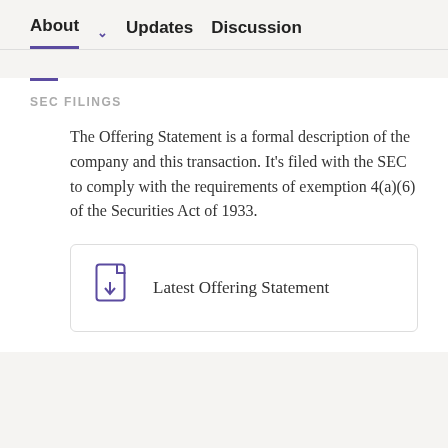About  ∨  Updates  Discussion
SEC FILINGS
The Offering Statement is a formal description of the company and this transaction. It's filed with the SEC to comply with the requirements of exemption 4(a)(6) of the Securities Act of 1933.
Latest Offering Statement